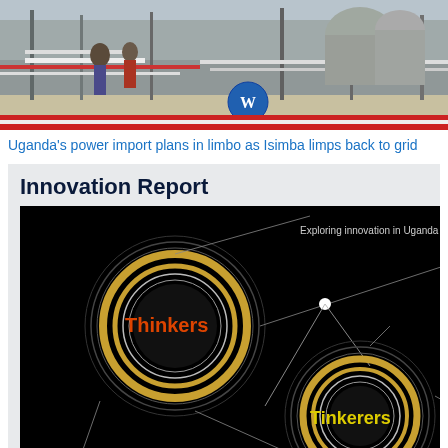[Figure (photo): Photo of an equestrian/sports event venue with barriers, a WordPress logo/icon visible, industrial background]
Uganda's power import plans in limbo as Isimba limps back to grid
Innovation Report
[Figure (illustration): Innovation Report cover image on black background showing circular ring diagrams labeled 'Thinkers' (in red/orange) and 'Tinkerers' (in yellow), with text 'Exploring innovation in Uganda' in the upper right]